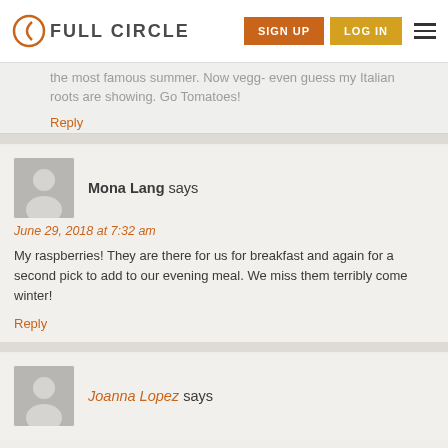FULL CIRCLE | SIGN UP | LOG IN
the most famous summer. Now vegg- even guess my Italian roots are showing. Go Tomatoes!
Reply
[Figure (illustration): User avatar placeholder icon for Mona Lang]
Mona Lang says
June 29, 2018 at 7:32 am
My raspberries! They are there for us for breakfast and again for a second pick to add to our evening meal. We miss them terribly come winter!
Reply
[Figure (illustration): User avatar placeholder icon for Joanna Lopez]
Joanna Lopez says